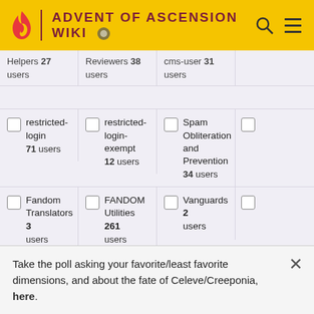ADVENT OF ASCENSION WIKI
Helpers 27 users | Reviewers 38 users | cms-user 31 users
restricted-login 71 users
restricted-login-exempt 12 users
Spam Obliteration and Prevention 34 users
Fandom Translators 3 users
FANDOM Utilities 261 users
Vanguards 2 users
Wiki Representatives
Wiki Specialists 33
Autopatrol 1 users
Take the poll asking your favorite/least favorite dimensions, and about the fate of Celeve/Creeponia, here.